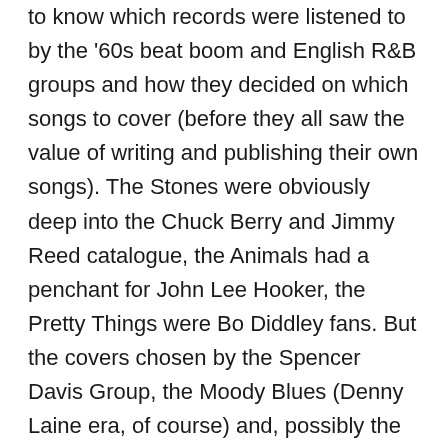to know which records were listened to by the '60s beat boom and English R&B groups and how they decided on which songs to cover (before they all saw the value of writing and publishing their own songs). The Stones were obviously deep into the Chuck Berry and Jimmy Reed catalogue, the Animals had a penchant for John Lee Hooker, the Pretty Things were Bo Diddley fans. But the covers chosen by the Spencer Davis Group, the Moody Blues (Denny Laine era, of course) and, possibly the most tasteful cover band of all, Manfred Mann, gave neophytes like me an extraordinary introduction into the then unfamiliar territory of Chicago blues and US R'n'B. And, once I'd realised where all this good stuff was coming from (thanks to Eric